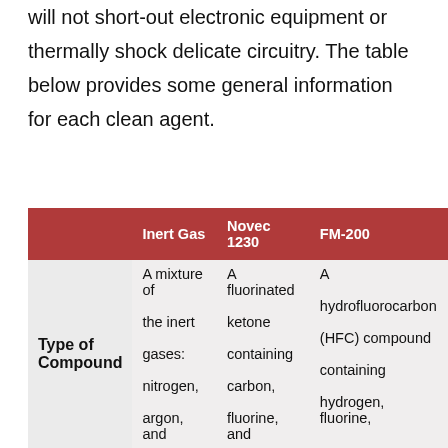will not short-out electronic equipment or thermally shock delicate circuitry. The table below provides some general information for each clean agent.
|  | Inert Gas | Novec 1230 | FM-200 |
| --- | --- | --- | --- |
| Type of Compound | A mixture of the inert gases: nitrogen, argon, and carbon dioxide | A fluorinated ketone containing carbon, fluorine, and oxygen | A hydrofluorocarbon (HFC) compound containing hydrogen, fluorine, and carbon |